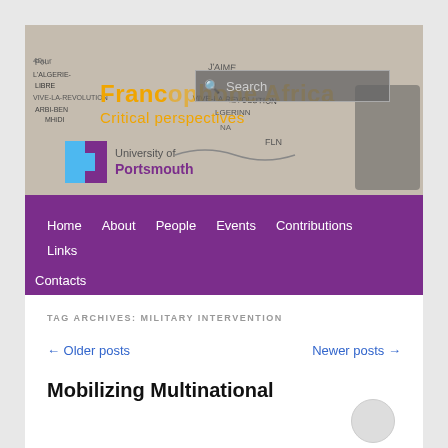[Figure (photo): Header banner image showing graffiti on a wall with text including 'VIVE-LA REVOLUTION', 'FLN', names and slogans. Overlaid with site title 'Francophone Africa – Critical perspectives', a search box, and University of Portsmouth logo.]
Francophone Africa
Critical perspectives
Home  About  People  Events  Contributions  Links
Contacts
TAG ARCHIVES: MILITARY INTERVENTION
← Older posts    Newer posts →
Mobilizing Multinational